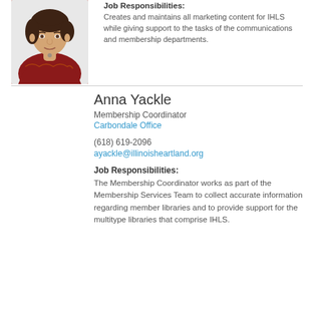[Figure (photo): Photo of a woman with curly dark hair wearing a red patterned top]
Job Responsibilities:
Creates and maintains all marketing content for IHLS while giving support to the tasks of the communications and membership departments.
Anna Yackle
Membership Coordinator
Carbondale Office
(618) 619-2096
ayackle@illinoisheartland.org
Job Responsibilities:
The Membership Coordinator works as part of the Membership Services Team to collect accurate information regarding member libraries and to provide support for the multitype libraries that comprise IHLS.